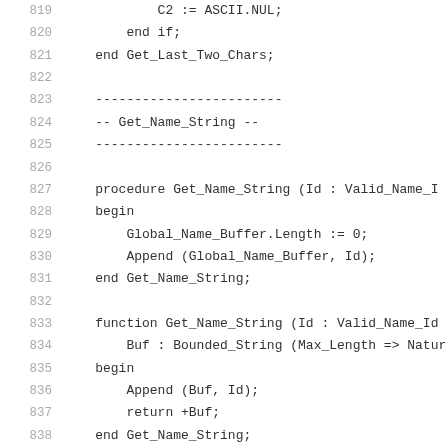819   C2 := ASCII.NUL;
820   end if;
821   end Get_Last_Two_Chars;
822
823   ------------------------
824   -- Get_Name_String --
825   ------------------------
826
827   procedure Get_Name_String (Id : Valid_Name_I
828   begin
829       Global_Name_Buffer.Length := 0;
830       Append (Global_Name_Buffer, Id);
831   end Get_Name_String;
832
833   function Get_Name_String (Id : Valid_Name_Id
834       Buf : Bounded_String (Max_Length => Natur
835   begin
836       Append (Buf, Id);
837       return +Buf;
838   end Get_Name_String;
839